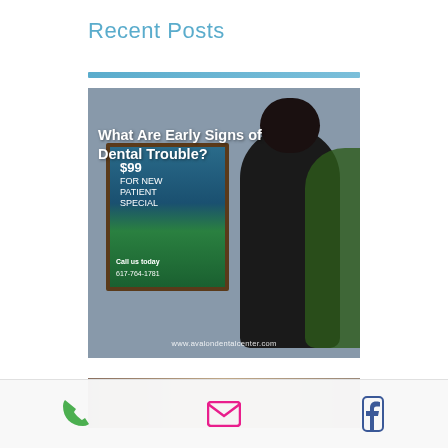Recent Posts
[Figure (photo): Photo of a woman standing next to a dental office poster advertising $99 New Patient Special, phone 617-764-1781, with overlaid text 'What Are Early Signs of Dental Trouble?' and watermark www.avalondentalcenter.com]
[Figure (photo): Partial photo of dental office interior, bottom of page]
Phone | Email | Facebook